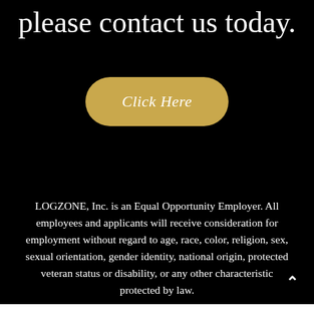please contact us today.
[Figure (other): Gold/tan rounded rectangle button with italic text 'Click Here' in white]
LOGZONE, Inc. is an Equal Opportunity Employer. All employees and applicants will receive consideration for employment without regard to age, race, color, religion, sex, sexual orientation, gender identity, national origin, protected veteran status or disability, or any other characteristic protected by law.